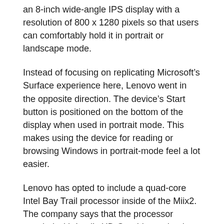an 8-inch wide-angle IPS display with a resolution of 800 x 1280 pixels so that users can comfortably hold it in portrait or landscape mode.
Instead of focusing on replicating Microsoft’s Surface experience here, Lenovo went in the opposite direction. The device’s Start button is positioned on the bottom of the display when used in portrait mode. This makes using the device for reading or browsing Windows in portrait-mode feel a lot easier.
Lenovo has opted to include a quad-core Intel Bay Trail processor inside of the Miix2. The company says that the processor coupled with Intel’s HD Graphics technology should deliver a “speed and responsiveness [that] separates the 8-inch tablet from the tablet pack.” Since the Miix2 uses an Intel processor, it’ll come equipped with Windows 8.1. That’s the version of Microsoft’s operating system that allows users to install applications to the